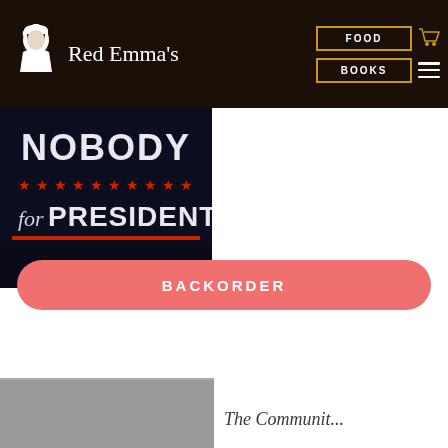Red Emma's — FOOD | BOOKS navigation
[Figure (photo): Product photo showing a dark background with 'NOBODY for PRESIDENT' text in red, white and blue political campaign style lettering with stars]
BACKORDER
[Figure (photo): Partial bottom image, grey/photo content]
The Communit...